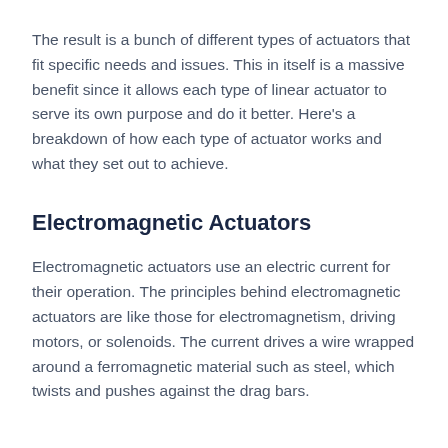The result is a bunch of different types of actuators that fit specific needs and issues. This in itself is a massive benefit since it allows each type of linear actuator to serve its own purpose and do it better. Here's a breakdown of how each type of actuator works and what they set out to achieve.
Electromagnetic Actuators
Electromagnetic actuators use an electric current for their operation. The principles behind electromagnetic actuators are like those for electromagnetism, driving motors, or solenoids. The current drives a wire wrapped around a ferromagnetic material such as steel, which twists and pushes against the drag bars.